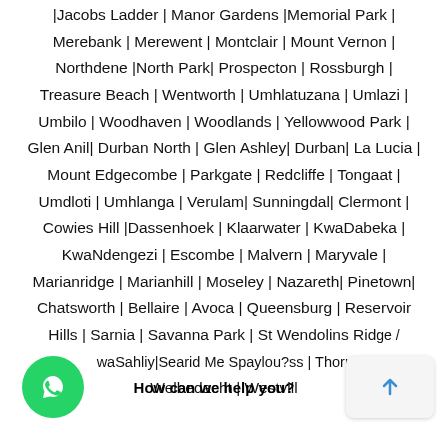|Jacobs Ladder | Manor Gardens |Memorial Park | Merebank | Merewent | Montclair | Mount Vernon | Northdene |North Park| Prospecton | Rossburgh | Treasure Beach | Wentworth | Umhlatuzana | Umlazi | Umbilo | Woodhaven | Woodlands | Yellowwood Park | Glen Anil| Durban North | Glen Ashley| Durban| La Lucia | Mount Edgecombe | Parkgate | Redcliffe | Tongaat | Umdloti | Umhlanga | Verulam| Sunningdal| Clermont | Cowies Hill |Dassenhoek | Klaarwater | KwaDabeka | KwaNdengezi | Escombe | Malvern | Maryvale | Marianridge | Marianhill | Moseley | Nazareth| Pinetown| Chatsworth | Bellaire | Avoca | Queensburg | Reservoir Hills | Sarnia | Savanna Park | St Wendolins Ridge / waSahliy| Searid Me Spaylou?ss | Thornwood Welbedacht | Westvill
[Figure (other): WhatsApp contact button (green circle with WhatsApp icon)]
How can we help you?
[Figure (other): Chat/scroll-up arrow button (grey rounded rectangle with upward arrow)]